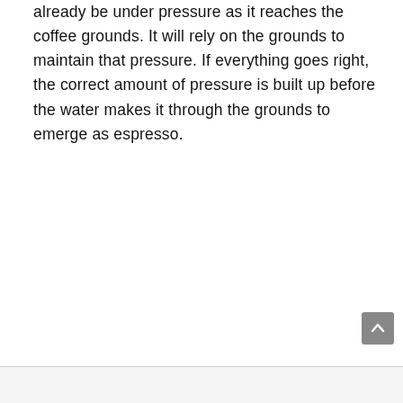already be under pressure as it reaches the coffee grounds. It will rely on the grounds to maintain that pressure. If everything goes right, the correct amount of pressure is built up before the water makes it through the grounds to emerge as espresso.